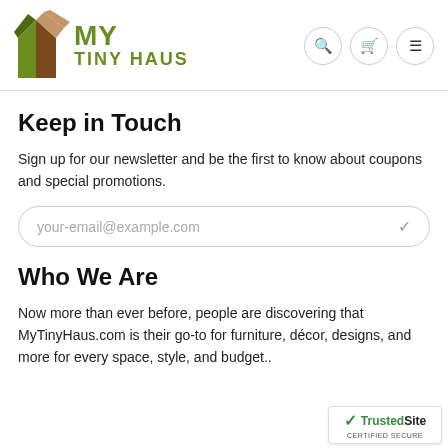[Figure (logo): My Tiny Haus logo with geometric house icon in olive green and brown colors, with text MY in large olive green letters and TINY HAUS below]
Keep in Touch
Sign up for our newsletter and be the first to know about coupons and special promotions.
your-email@example.com
Who We Are
Now more than ever before, people are discovering that MyTinyHaus.com is their go-to for furniture, décor, designs, and more for every space, style, and budget..
[Figure (logo): TrustedSite Certified Secure badge with green checkmark]